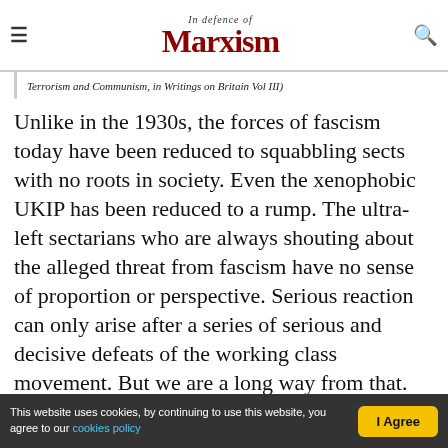In Defence of Marxism
Terrorism and Communism, in Writings on Britain Vol III)
Unlike in the 1930s, the forces of fascism today have been reduced to squabbling sects with no roots in society. Even the xenophobic UKIP has been reduced to a rump. The ultra-left sectarians who are always shouting about the alleged threat from fascism have no sense of proportion or perspective. Serious reaction can only arise after a series of serious and decisive defeats of the working class movement. But we are a long way from that.
This website uses cookies, by continuing to use this website, you agree to our cookies policy  |  I Agree